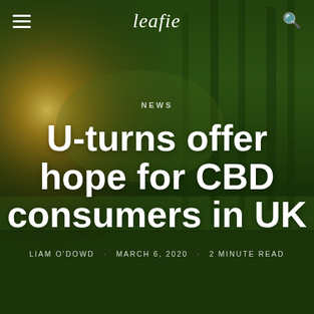leafie
[Figure (photo): Background photo of a cannabis/hemp field with tall green plants under a dramatic golden sunset sky with sunlight breaking through from the left side]
NEWS
U-turns offer hope for CBD consumers in UK
LIAM O'DOWD · MARCH 6, 2020 · 2 MINUTE READ